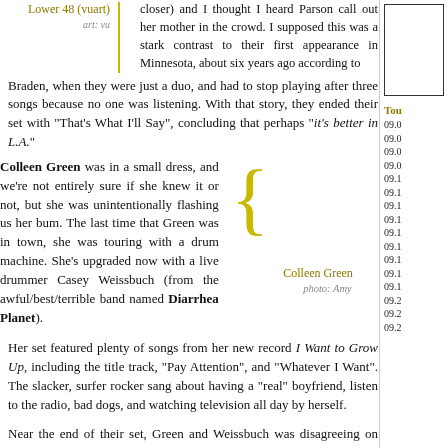Lower 48 (vuart)
art: vu
closer) and I thought I heard Parson call out her mother in the crowd. I supposed this was a stark contrast to their first appearance in Minnesota, about six years ago according to Braden, when they were just a duo, and had to stop playing after three songs because no one was listening. With that story, they ended their set with "That's What I'll Say", concluding that perhaps "it's better in L.A."
Colleen Green was in a small dress, and we're not entirely sure if she knew it or not, but she was unintentionally flashing us her bum. The last time that Green was in town, she was touring with a drum machine. She's upgraded now with a live drummer Casey Weissbuch (from the awful/best/terrible band named Diarrhea Planet).
Colleen Green
photo: Amy
Her set featured plenty of songs from her new record I Want to Grow Up, including the title track, "Pay Attention", and "Whatever I Want". The slacker, surfer rocker sang about having a "real" boyfriend, listen to the radio, bad dogs, and watching television all day by herself.
Near the end of their set, Green and Weissbuch was disagreeing on what to play next. Weissbuch had to constantly tell Green the song
Tou
09.0
09.0
09.0
09.0
09.1
09.1
09.1
09.1
09.1
09.1
09.1
09.1
09.1
09.2
09.2
09.2